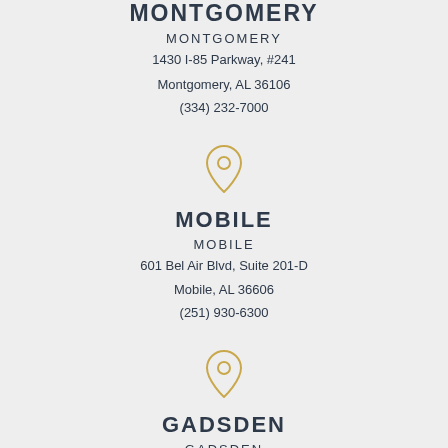MONTGOMERY
MONTGOMERY
1430 I-85 Parkway, #241
Montgomery, AL 36106
(334) 232-7000
[Figure (illustration): Golden map pin / location marker icon]
MOBILE
MOBILE
601 Bel Air Blvd, Suite 201-D
Mobile, AL 36606
(251) 930-6300
[Figure (illustration): Golden map pin / location marker icon]
GADSDEN
GADSDEN
Gadsen, AL 35901